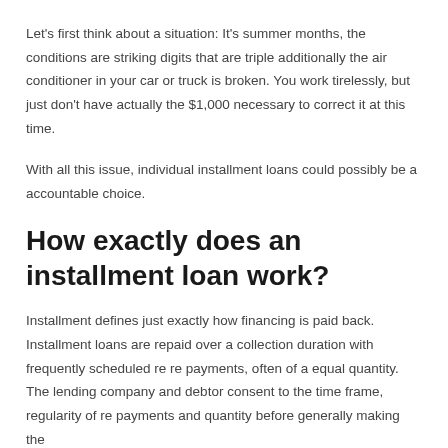Let's first think about a situation: It's summer months, the conditions are striking digits that are triple additionally the air conditioner in your car or truck is broken. You work tirelessly, but just don't have actually the $1,000 necessary to correct it at this time.
With all this issue, individual installment loans could possibly be a accountable choice.
How exactly does an installment loan work?
Installment defines just exactly how financing is paid back. Installment loans are repaid over a collection duration with frequently scheduled re re payments, often of a equal quantity. The lending company and debtor consent to the time frame, regularity of re payments and quantity before generally making the